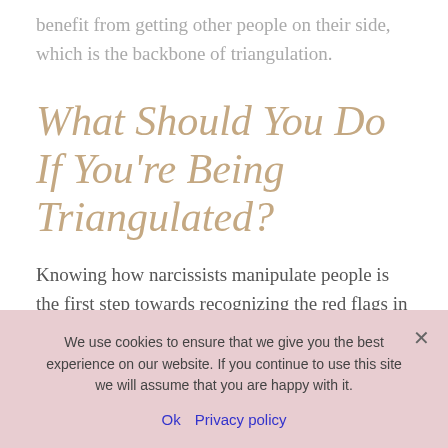benefit from getting other people on their side, which is the backbone of triangulation.
What Should You Do If You're Being Triangulated?
Knowing how narcissists manipulate people is the first step towards recognizing the red flags in your relationship. In
We use cookies to ensure that we give you the best experience on our website. If you continue to use this site we will assume that you are happy with it.
Ok  Privacy policy